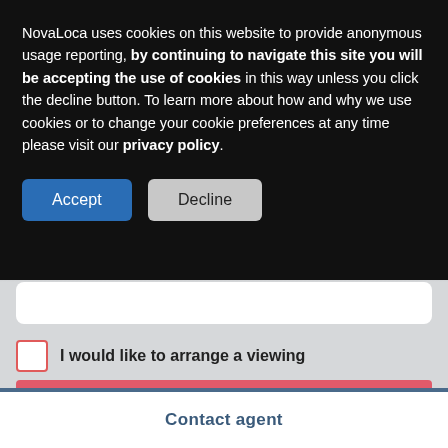NovaLoca uses cookies on this website to provide anonymous usage reporting, by continuing to navigate this site you will be accepting the use of cookies in this way unless you click the decline button. To learn more about how and why we use cookies or to change your cookie preferences at any time please visit our privacy policy.
[Figure (screenshot): Accept and Decline cookie consent buttons]
[Figure (screenshot): Web form area with white input box, three checkboxes labeled: I would like to arrange a viewing, Send me details of similar properties, Put me on your mailing list, and a partial red button bar at the bottom]
Contact agent